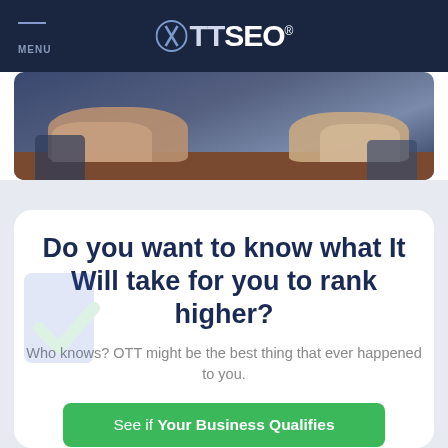MENU | OTTSEO®
[Figure (photo): Dark background photo showing two people's hands resting on a table surface, suggesting a business meeting]
Do you want to know what It Will take for you to rank higher?
Who knows? OTT might be the best thing that ever happened to you.
See if Your Business Qualifies